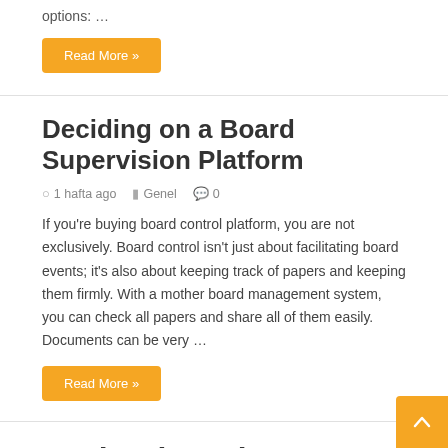options: …
Read More »
Deciding on a Board Supervision Platform
1 hafta ago   Genel   0
If you're buying board control platform, you are not exclusively. Board control isn't just about facilitating board events; it's also about keeping track of papers and keeping them firmly. With a mother board management system, you can check all papers and share all of them easily. Documents can be very …
Read More »
Mother board Management Software
1 hafta ago   Genel   0
Board software can help reduces costs of the entire aboard meeting process, allowing the business to stay sorted and on leading of